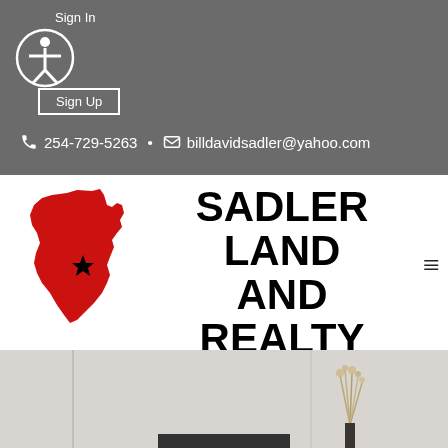Sign In
Sign Up
254-729-5263 • billdavidsadler@yahoo.com
[Figure (logo): Sadler Land and Realty logo with red Texas state silhouette and black bold text reading SADLER LAND AND REALTY]
[Figure (photo): Interior room photo with vertical lines and wheat/dried flower decoration on dark surface, partially visible]